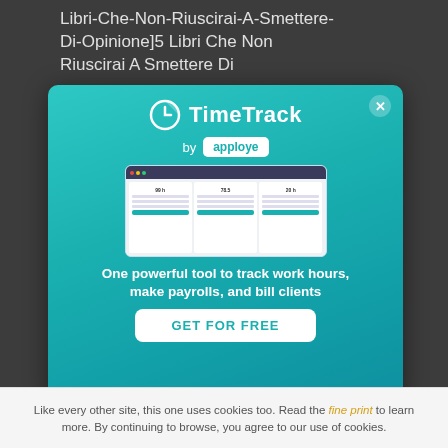Libri-Che-Non-Riuscirai-A-Smettere-Di-Opinione]5 Libri Che Non Riuscirai A Smettere Di
[Figure (screenshot): A modal advertisement popup for TimeTrack by Apploye. Features the TimeTrack logo (clock icon), brand name, 'by apploye' badge, a screenshot of a dashboard application, the tagline 'One powerful tool to track work hours, make payrolls, and bill clients', and a 'GET FOR FREE' call-to-action button. The background is a teal/turquoise gradient. There is a close button (X) in the top-right corner.]
Like every other site, this one uses cookies too. Read the fine print to learn more. By continuing to browse, you agree to our use of cookies.